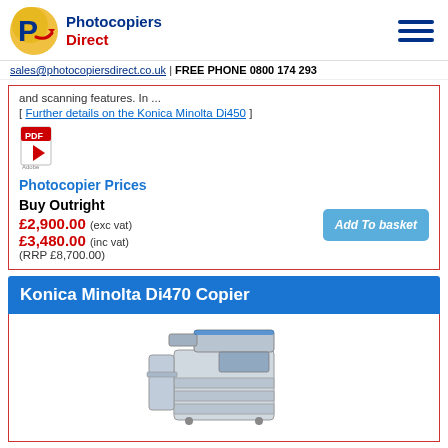Photocopiers Direct
sales@photocopiersdirect.co.uk | FREE PHONE 0800 174 293
and scanning features. In ...
[ Further details on the Konica Minolta Di450 ]
[Figure (other): PDF icon (Adobe PDF logo)]
Photocopier Prices
Buy Outright
£2,900.00 (exc vat)
£3,480.00 (inc vat)
(RRP £8,700.00)
Add To basket
Konica Minolta Di470 Copier
[Figure (photo): Photo of Konica Minolta Di470 photocopier/printer machine]